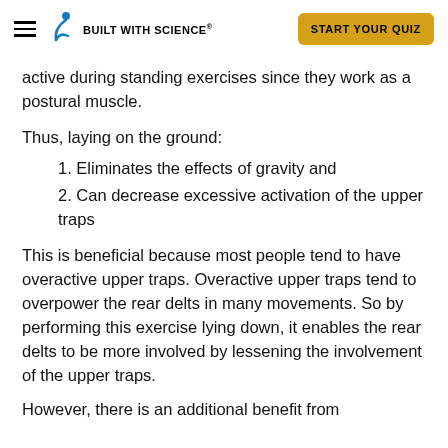BUILT WITH SCIENCE® | START YOUR QUIZ
active during standing exercises since they work as a postural muscle.
Thus, laying on the ground:
1. Eliminates the effects of gravity and
2. Can decrease excessive activation of the upper traps
This is beneficial because most people tend to have overactive upper traps. Overactive upper traps tend to overpower the rear delts in many movements. So by performing this exercise lying down, it enables the rear delts to be more involved by lessening the involvement of the upper traps.
...